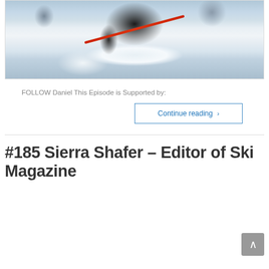[Figure (photo): A skier performing a trick or aggressive carving turn on snow, wearing dark clothing, with mountains visible in the background. Snow-covered slopes with rocky mountains visible in upper portion.]
FOLLOW Daniel This Episode is Supported by:
Continue reading ›
#185 Sierra Shafer – Editor of Ski Magazine